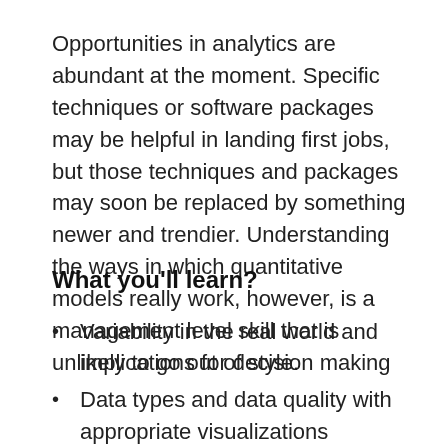Opportunities in analytics are abundant at the moment. Specific techniques or software packages may be helpful in landing first jobs, but those techniques and packages may soon be replaced by something newer and trendier. Understanding the ways in which quantitative models really work, however, is a management level skill that is unlikely to go out of style.
What you'll learn?
Variability in the real world and implications for decision making
Data types and data quality with appropriate visualizations
Apply data analysis to managerial decisions